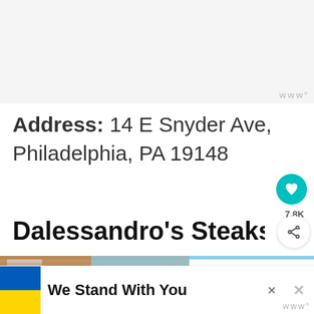[Figure (photo): Light gray placeholder / cropped image area at top of page]
Address: 14 E Snyder Ave, Philadelphia, PA 19148
Dalessandro's Steaks and Hoagies
[Figure (photo): Photo of Dalessandro's restaurant exterior with brick building and sign, with a 'What's Next' overlay showing '11 of the Best Philadelphia...']
We Stand With You